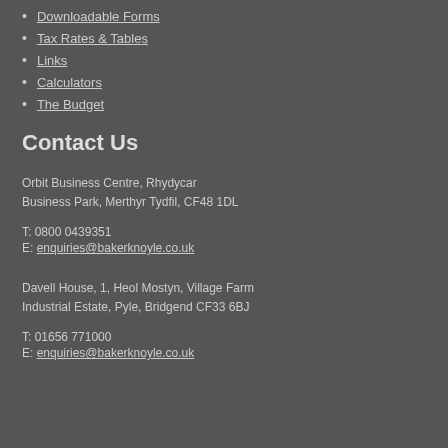Downloadable Forms
Tax Rates & Tables
Links
Calculators
The Budget
Contact Us
Orbit Business Centre, Rhydycar Business Park, Merthyr Tydfil, CF48 1DL
T: 0800 0439351
E: enquiries@bakerknoyle.co.uk
Davell House, 1, Heol Mostyn, Village Farm Industrial Estate, Pyle, Bridgend CF33 6BJ
T: 01656 771000
E: enquiries@bakerknoyle.co.uk